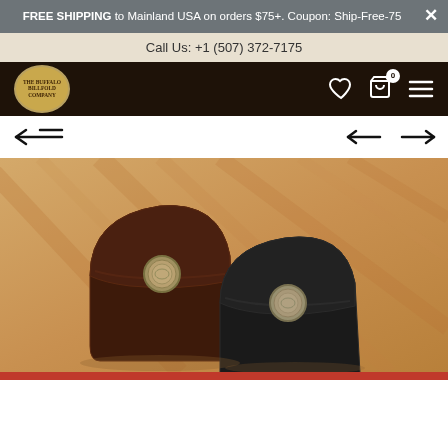FREE SHIPPING to Mainland USA on orders $75+. Coupon: Ship-Free-75
Call Us: +1 (507) 372-7175
[Figure (logo): The Buffalo Billfold Company oval logo in gold/brown tones on dark navigation bar]
[Figure (screenshot): E-commerce product page navigation bar with heart (wishlist), cart (0 items), and hamburger menu icons on dark brown background]
[Figure (photo): Two small leather coin purses with buffalo nickel snap buttons on a wood surface — one dark brown, one black — product photo for The Buffalo Billfold Company]